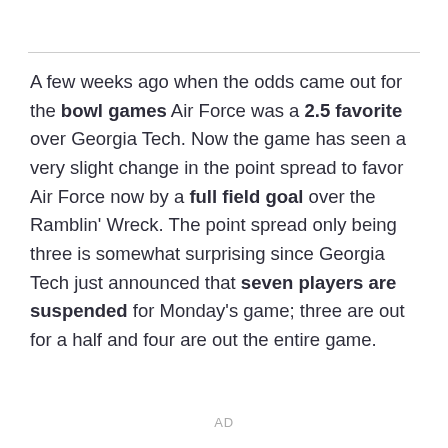A few weeks ago when the odds came out for the bowl games Air Force was a 2.5 favorite over Georgia Tech. Now the game has seen a very slight change in the point spread to favor Air Force now by a full field goal over the Ramblin’ Wreck. The point spread only being three is somewhat surprising since Georgia Tech just announced that seven players are suspended for Monday’s game; three are out for a half and four are out the entire game.
AD